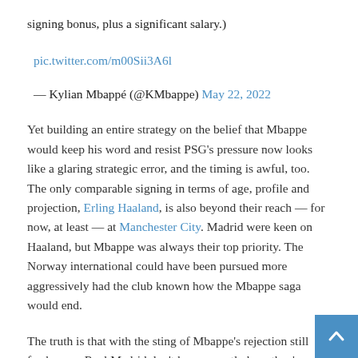signing bonus, plus a significant salary.)
pic.twitter.com/m00Sii3A6l
— Kylian Mbappé (@KMbappe) May 22, 2022
Yet building an entire strategy on the belief that Mbappe would keep his word and resist PSG's pressure now looks like a glaring strategic error, and the timing is awful, too. The only comparable signing in terms of age, profile and projection, Erling Haaland, is also beyond their reach — for now, at least — at Manchester City. Madrid were keen on Haaland, but Mbappe was always their top priority. The Norway international could have been pursued more aggressively had the club known how the Mbappe saga would end.
The truth is that with the sting of Mbappe's rejection still fresh, even Real Madrid don't know exactly how they're going to